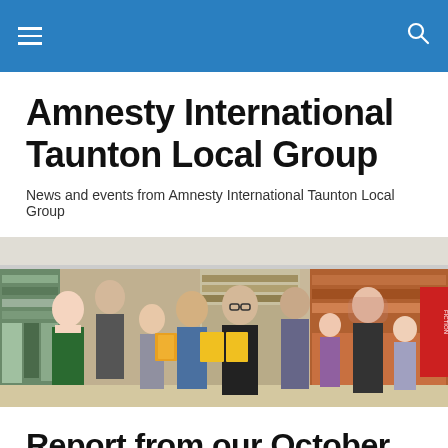Navigation bar with menu and search icons
Amnesty International Taunton Local Group
News and events from Amnesty International Taunton Local Group
[Figure (photo): Group photo of Amnesty International Taunton Local Group members standing in a library, several holding books or materials]
Report from our October meeting